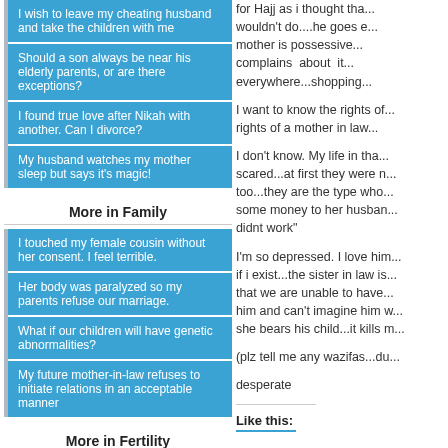I wish to leave my cheating husband and take the children with me
Should a son always be near his elderly parents, or are there exceptions?
I found true love after Nikah with another. Can I divorce?
My husband watches my mother sleep but says it's magic!
More in Family
I touched my female cousin without her consent. I feel terrible.
Her body was paralyzed so my parents refuse our marriage.
What if our children will have genetic abnormalities?
My future mother-in-law refuses to initiate relations in an acceptable manner
More in Fertility
I have a small female reproductive system. Please help!
Infertile widower about to remarry
Hiding Infertility Before Marriage
I cannot have peace
for Hajj as i thought tha...wouldn't do....he goes c...mother is possessive...complains about it...everywhere...shopping...
I want to know the rights of...rights of a mother in law...
I don't know. My life in tha...scared...at first they were n...too...they are the type who...some money to her husban...didnt work"
I'm so depressed. I love him...if i exist...the sister in law is...that we are unable to have...him and can't imagine him w...she bears his child...it kills m...
(plz tell me any wazifas...du...
desperate
Like this: